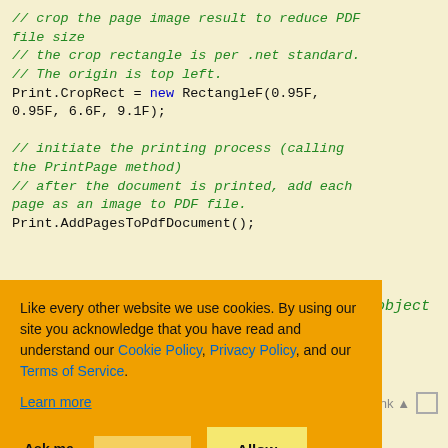// crop the page image result to reduce PDF file size
// the crop rectangle is per .net standard.
// The origin is top left.
Print.CropRect = new RectangleF(0.95F, 0.95F, 6.6F, 9.1F);

// initiate the printing process (calling the PrintPage method)
// after the document is printed, add each page as an image to PDF file.
Print.AddPagesToPdfDocument();
[Figure (screenshot): Cookie consent overlay popup with orange background, containing text about cookie policy, links to Cookie Policy, Privacy Policy, and Terms of Service, and three buttons: Ask me later, Decline, Allow cookies]
object
// Print each page of the document to